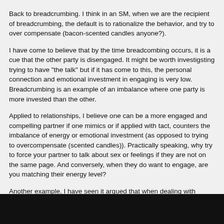Back to breadcrumbing. I think in an SM, when we are the recipient of breadcrumbing, the default is to rationalize the behavior, and try to over compensate (bacon-scented candles anyone?).
I have come to believe that by the time breadcombing occurs, it is a cue that the other party is disengaged. It might be worth investigsting trying to have "the talk" but if it has come to this, the personal connection and emotional investment in engaging is very low. Breadcrumbing is an example of an imbalance where one party is more invested than the other.
Applied to relationships, I believe one can be a more engaged and compelling partner if one mimics or if applied with tact, counters the imbalance of energy or emotional investment (as opposed to trying to overcompensate (scented candles)). Practically speaking, why try to force your partner to talk about sex or feelings if they are not on the same page. And conversely, when they do want to engage, are you matching their energy level?
Another example. I have seen it argued that when dealing with narcistic behavior, one counters by taking a neutral to distant stance. That is you dont engage or feed the narcistic behavior. To me this is an example of countering as opposed to mimicking unwanted behavior.